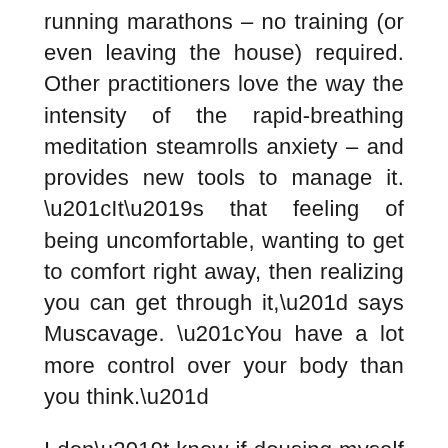running marathons – no training (or even leaving the house) required. Other practitioners love the way the intensity of the rapid-breathing meditation steamrolls anxiety – and provides new tools to manage it. “It’s that feeling of being uncomfortable, wanting to get to comfort right away, then realizing you can get through it,” says Muscavage. “You have a lot more control over your body than you think.”
I don’t know if dousing myself in cold water will be a regular practice in my future. But I have to say, in these stressful times, it